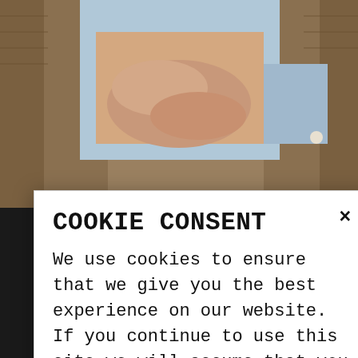[Figure (photo): Background photo of a person wearing layered clothing — a brown tweed/knit cardigan over a light blue denim shirt, hands clasped at the torso. Fashion/lifestyle photography.]
COOKIE CONSENT
We use cookies to ensure that we give you the best experience on our website. If you continue to use this site we will assume that you are happy with it.
COOKIE POLICY +
Accept
ART OF SUBTLE FLEXING WITH CELINE MAILLON TRIOMPHE
If there's one key defining element that's been